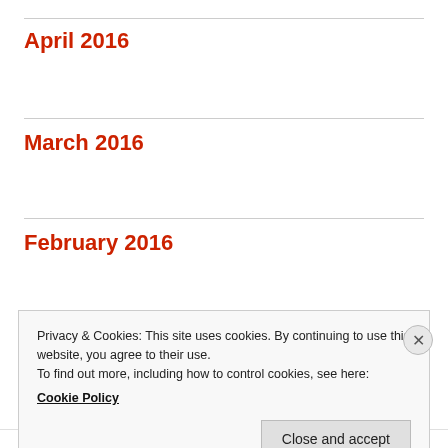April 2016
March 2016
February 2016
January 2016
December 2015
November 2015
Privacy & Cookies: This site uses cookies. By continuing to use this website, you agree to their use.
To find out more, including how to control cookies, see here:
Cookie Policy
Close and accept